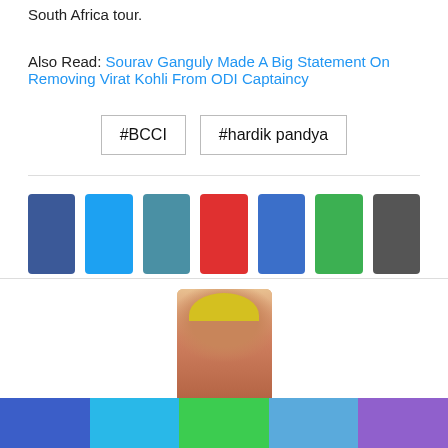South Africa tour.
Also Read: Sourav Ganguly Made A Big Statement On Removing Virat Kohli From ODI Captaincy
#BCCI
#hardik pandya
[Figure (infographic): Social media share icons: Facebook (dark blue), Twitter (light blue), LinkedIn (teal-blue), Pinterest/Google+ (red), Facebook (medium blue), WhatsApp (green), Share (dark gray)]
[Figure (photo): Profile photo of a person wearing a yellow cap, smiling]
[Figure (infographic): Bottom social sharing bar with five colored sections: blue, sky blue, green, light blue, purple]